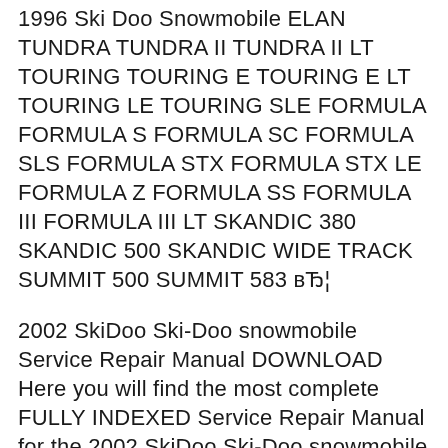1996 Ski Doo Snowmobile ELAN TUNDRA TUNDRA II TUNDRA II LT TOURING TOURING E TOURING E LT TOURING LE TOURING SLE FORMULA FORMULA S FORMULA SC FORMULA SLS FORMULA STX FORMULA STX LE FORMULA Z FORMULA SS FORMULA III FORMULA III LT SKANDIC 380 SKANDIC 500 SKANDIC WIDE TRACK SUMMIT 500 SUMMIT 583 вЂ¦
2002 SkiDoo Ski-Doo snowmobile Service Repair Manual DOWNLOAD Here you will find the most complete FULLY INDEXED Service Repair Manual for the 2002 SkiDoo Ski-Doo snowmobile ever compiled by mankind. This file holds of high quality diagrams and instructions